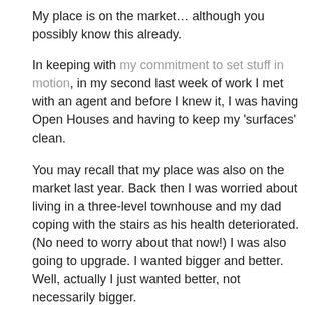My place is on the market… although you possibly know this already.
In keeping with my commitment to set stuff in motion, in my second last week of work I met with an agent and before I knew it, I was having Open Houses and having to keep my 'surfaces' clean.
You may recall that my place was also on the market last year. Back then I was worried about living in a three-level townhouse and my dad coping with the stairs as his health deteriorated. (No need to worry about that now!) I was also going to upgrade. I wanted bigger and better. Well, actually I just wanted better, not necessarily bigger.
After three months on the market and a contract that fell through, I pulled it off. That all happened around this time last year, just as my father became sick.
So it happened that I already knew...